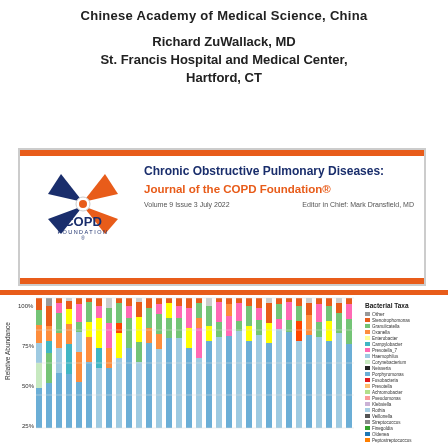Chinese Academy of Medical Science, China
Richard ZuWallack, MD
St. Francis Hospital and Medical Center,
Hartford, CT
[Figure (other): COPD Foundation journal cover showing journal logo, title 'Chronic Obstructive Pulmonary Diseases: Journal of the COPD Foundation', Volume 9 Issue 3 July 2022, Editor in Chief: Mark Dransfield, MD]
[Figure (stacked-bar-chart): Stacked bar chart showing relative abundance (0-100%) of bacterial taxa across multiple samples, with legend showing various bacterial genera including Stenotrophomonas, Granulicatella, Oxanella, Enterobacter, Campylobacter, Prevotella_7, Haemophilus, Corynebacterium, Neisseria, Porphyromonas, Fusobacteria, Prevotella, Achromobacter, Pseudomonas, Klebsiella, Rothia, Veillonella, Streptococcus, Finegoldia, Oldenea, Oxyphototbacteria, Peptostreptococcus, Novospingobium, Amaricoccus]